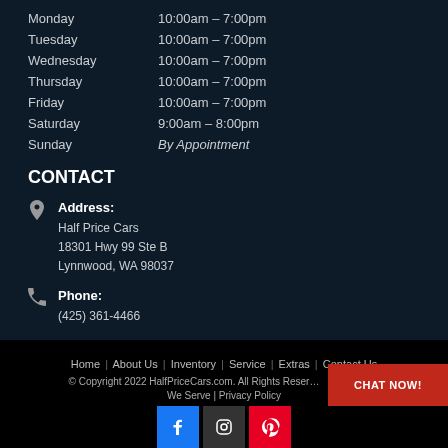| Day | Hours |
| --- | --- |
| Monday | 10:00am – 7:00pm |
| Tuesday | 10:00am – 7:00pm |
| Wednesday | 10:00am – 7:00pm |
| Thursday | 10:00am – 7:00pm |
| Friday | 10:00am – 7:00pm |
| Saturday | 9:00am – 8:00pm |
| Sunday | By Appointment |
CONTACT
Address:
Half Price Cars
18301 Hwy 99 Ste B
Lynnwood, WA 98037
Phone:
(425) 361-4466
Home | About Us | Inventory | Service | Extras | Contact Us
© Copyright 2022 HalfPriceCars.com. All Rights Reserved.
We Serve | Privacy Policy